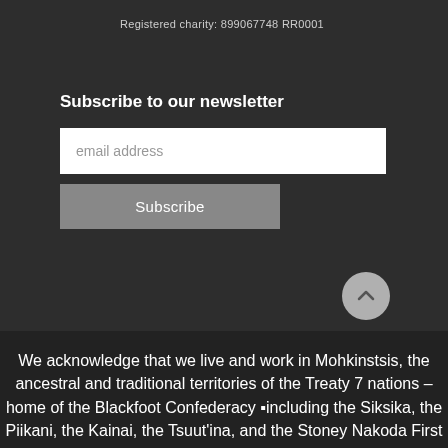Registered charity: 899067748 RR0001
Subscribe to our newsletter
We acknowledge that we live and work in Mohkinstsis, the ancestral and traditional territories of the Treaty 7 nations – home of the Blackfoot Confederacy ▪including the Siksika, the Piikani, the Kainai, the Tsuut'ina, and the Stoney Nakoda First